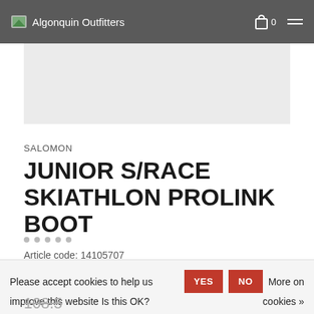Algonquin Outfitters
[Figure (photo): Product image area - light grey placeholder for product photo]
SALOMON
JUNIOR S/RACE SKIATHLON PROLINK BOOT
Article code: 14105707
Size :
Please accept cookies to help us improve this website Is this OK?   YES   NO   More on cookies »
108.5